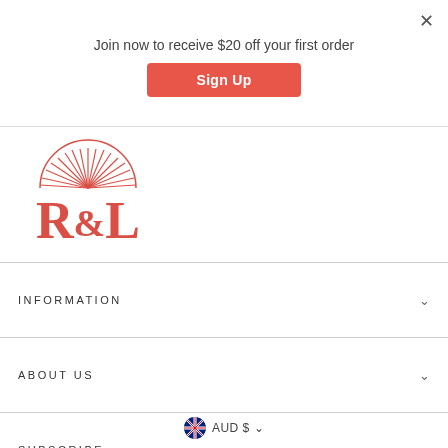Join now to receive $20 off your first order
Sign Up
[Figure (logo): R&L brand logo with sun rays above the letters R&L in red serif font]
INFORMATION
ABOUT US
SUBSCRIBE
AUD $